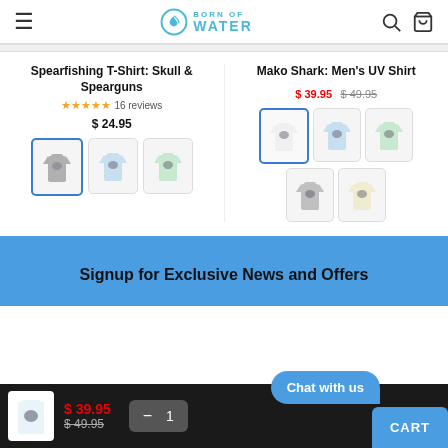Born of Water — navigation header with hamburger menu, logo, search and cart icons
Spearfishing T-Shirt: Skull & Spearguns
★★★★★ 16 reviews
$ 24.95
Mako Shark: Men's UV Shirt
$ 39.95  $ 49.95
[Figure (screenshot): Product thumbnails for Spearfishing T-Shirt in grey (selected), light blue, and light green colors]
[Figure (screenshot): Product thumbnails for Mako Shark UV Shirt in white (selected), light blue, light green, grey, and cream colors]
Signup for Exclusive News and Offers
$ 39.95
$ 49.95  — 1  CART
Chat with us